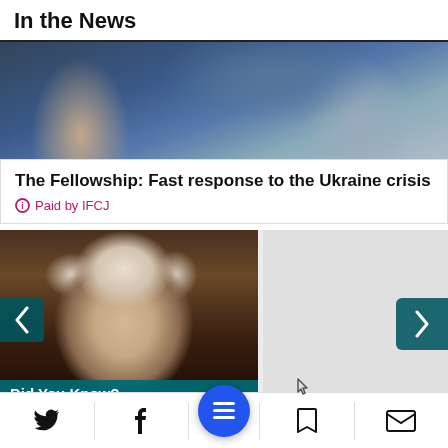In the News
[Figure (photo): Close-up photo of a figure in a blue jacket/vest, blurred background]
The Fellowship: Fast response to the Ukraine crisis
Paid by IFCJ
[Figure (photo): Did You Know? carousel showing portrait of elderly man resembling Einstein, with navigation arrows. Text reads: 'te of Israel asked A. Einstein, ew, to be their President. He ing he was "sadden']
Bottom navigation bar with Twitter, Facebook, menu, bookmark, and mail icons